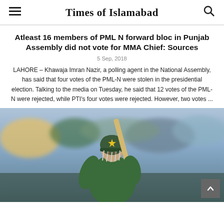Times of Islamabad
Atleast 16 members of PML N forward bloc in Punjab Assembly did not vote for MMA Chief: Sources
5 Sep, 2018
LAHORE – Khawaja Imran Nazir, a polling agent in the National Assembly, has said that four votes of the PML-N were stolen in the presidential election. Talking to the media on Tuesday, he said that 12 votes of the PML-N were rejected, while PTI's four votes were rejected. However, two votes ...
[Figure (photo): A cricket player wearing a green Pakistan cricket helmet with yellow star, holding a bat, with blurred crowd in background]